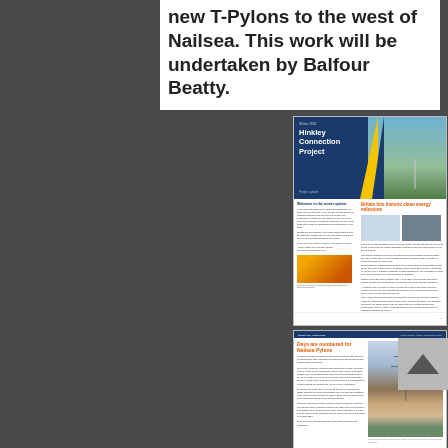new T-Pylons to the west of Nailsea. This work will be undertaken by Balfour Beatty.
[Figure (screenshot): Hinkley Connection Project newsletter cover - Winter 2020 edition showing project update with blue header, white text title, yellow chevron, and countryside photo]
[Figure (screenshot): National Grid October 2020 project update page showing 'Days are numbered for Nailsea Pylons' article with text columns and a photo of an electricity pylon near residential houses]